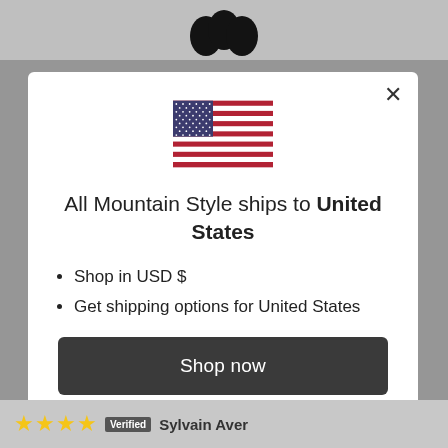[Figure (logo): Three black oval/circle shapes forming a logo (All Mountain Style brand logo)]
[Figure (illustration): US flag SVG illustration]
All Mountain Style ships to United States
Shop in USD $
Get shipping options for United States
Shop now
Change shipping country
[Figure (illustration): Four gold/yellow star rating icons]
Verified  Sylvain Aver